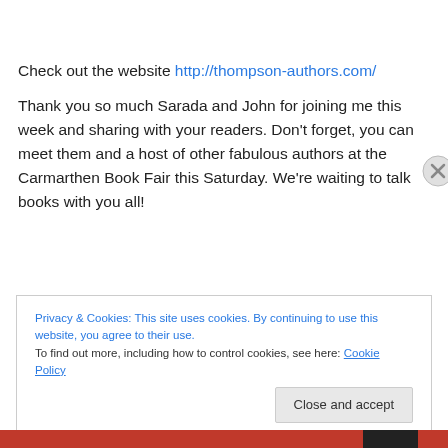Check out the website http://thompson-authors.com/
Thank you so much Sarada and John for joining me this week and sharing with your readers. Don’t forget, you can meet them and a host of other fabulous authors at the Carmarthen Book Fair this Saturday. We’re waiting to talk books with you all!
Privacy & Cookies: This site uses cookies. By continuing to use this website, you agree to their use.
To find out more, including how to control cookies, see here: Cookie Policy
Close and accept